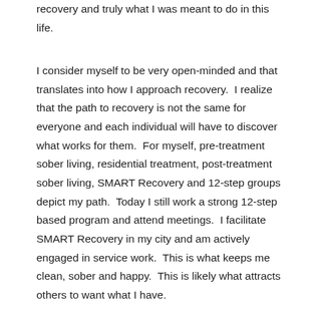recovery and truly what I was meant to do in this life.
I consider myself to be very open-minded and that translates into how I approach recovery.  I realize that the path to recovery is not the same for everyone and each individual will have to discover what works for them.  For myself, pre-treatment sober living, residential treatment, post-treatment sober living, SMART Recovery and 12-step groups depict my path.  Today I still work a strong 12-step based program and attend meetings.  I facilitate SMART Recovery in my city and am actively engaged in service work.  This is what keeps me clean, sober and happy.  This is likely what attracts others to want what I have.